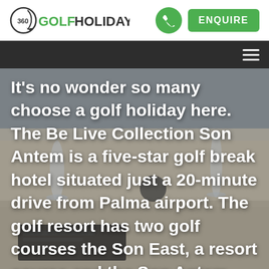360 GOLF HOLIDAYS  [phone]  ENQUIRE
[Figure (screenshot): Dark navigation bar with hamburger menu icon on right]
[Figure (photo): Background photo of a hotel dining table setting with glassware, cutlery and a menu card, slightly blurred]
It's no wonder so many choose a golf holiday here. The Be Live Collection Son Antem is a five-star golf break hotel situated just a 20-minute drive from Palma airport. The golf resort has two golf courses the Son East, a resort course and the Son Antem West.